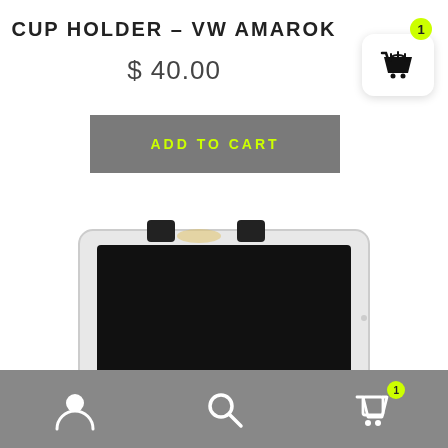CUP HOLDER – VW AMAROK
$ 40.00
ADD TO CART
[Figure (photo): Product photo of a tablet or device mounted in a cup holder bracket with two black clips at the top, showing a black screen, white frame, viewed from a slight angle.]
Navigation bar with user icon, search icon, and cart icon with badge showing 1